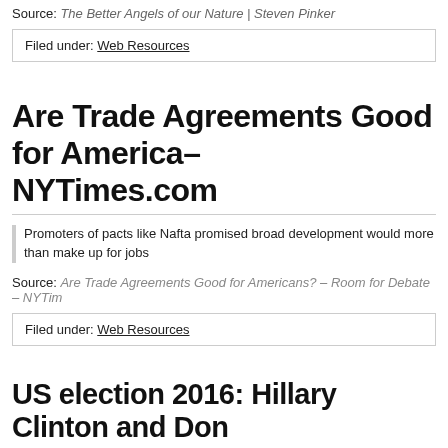Source: The Better Angels of our Nature | Steven Pinker
Filed under: Web Resources
Are Trade Agreements Good for Americans? – NYTimes.com
Promoters of pacts like Nafta promised broad development would more than make up for jobs
Source: Are Trade Agreements Good for Americans? - Room for Debate - NYTimes
Filed under: Web Resources
US election 2016: Hillary Clinton and Donald Trump surge with victories – BBC News
Source: US election 2016: Hillary Clinton and Donald Trump surge with victori
Filed under: Web Resources